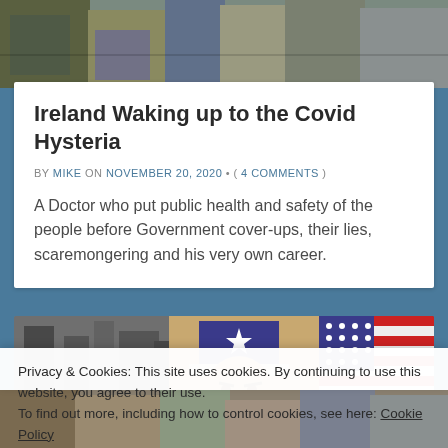[Figure (photo): Top photo strip showing people walking, partial bodies visible from mid-torso down]
Ireland Waking up to the Covid Hysteria
BY MIKE ON NOVEMBER 20, 2020 • ( 4 COMMENTS )
A Doctor who put public health and safety of the people before Government cover-ups, their lies, scaremongering and his very own career.
[Figure (photo): Composite image showing black-and-white historical photo at left, center image of Uncle Sam figure in star-spangled hat, and American flag on right]
Privacy & Cookies: This site uses cookies. By continuing to use this website, you agree to their use.
To find out more, including how to control cookies, see here: Cookie Policy
Close and accept
[Figure (photo): Bottom partial photo strip showing people]